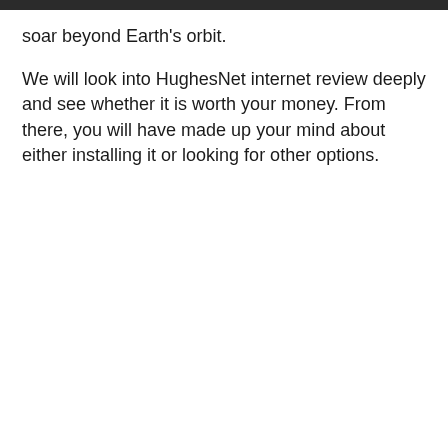soar beyond Earth's orbit.
We will look into HughesNet internet review deeply and see whether it is worth your money. From there, you will have made up your mind about either installing it or looking for other options.